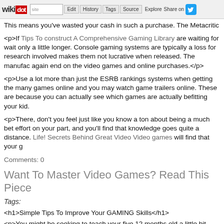wikidot | site | Edit | History | Tags | Source | Explore | Share on
This means you've wasted your cash in such a purchase. The Metacritic s
<p>If Tips To construct A Comprehensive Gaming Library are waiting for wait only a little longer. Console gaming systems are typically a loss for research involved makes them not lucrative when released. The manufac again end on the video games and online purchases.</p>
<p>Use a lot more than just the ESRB rankings systems when getting the many games online and you may watch game trailers online. These are because you can actually see which games are actually befitting your kid.
<p>There, don't you feel just like you know a ton about being a much bet effort on your part, and you'll find that knowledge goes quite a distance. Life! Secrets Behind Great Video Video games will find that your g
Comments: 0
Want To Master Video Games? Read This Piece
Tags:
<h1>Simple Tips To Improve Your GAMING Skills</h1>
<p>You might be seeking to teach your five 12 months old a little bit abou to defensively drive, or maybe you should escape reality for an hour or s chances are good that a video game may help you get there. Keep readin
<p>Customize your controls. Most games have advanced settings that le these in your favor. There is nothing at all that says you must play w just as if you have become familiar with it in using with a better...